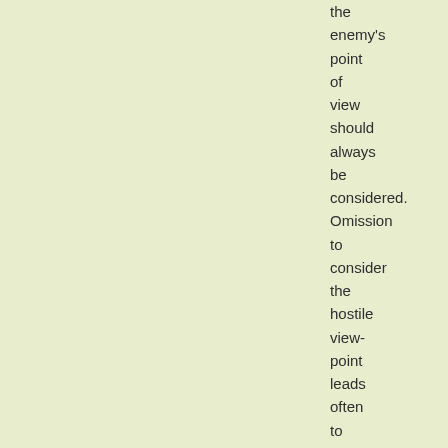the enemy's point of view should always be considered. Omission to consider the hostile view-point leads often to what is one of the most fatal of errors,